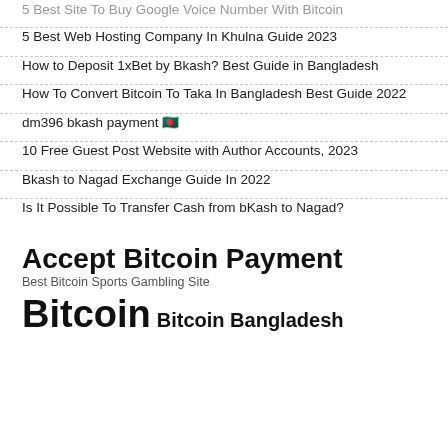5 Best Site To Buy Google Voice Number With Bitcoin
5 Best Web Hosting Company In Khulna Guide 2023
How to Deposit 1xBet by Bkash? Best Guide in Bangladesh
How To Convert Bitcoin To Taka In Bangladesh Best Guide 2022
dm396 bkash payment 🇧🇩
10 Free Guest Post Website with Author Accounts, 2023
Bkash to Nagad Exchange Guide In 2022
Is It Possible To Transfer Cash from bKash to Nagad?
Accept Bitcoin Payment  Best Bitcoin Sports Gambling Site  Bitcoin  Bitcoin Bangladesh